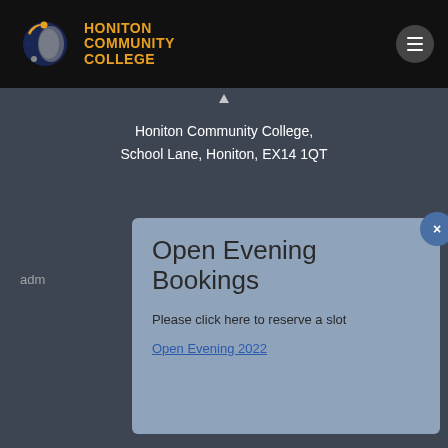Honiton Community College
[Figure (logo): Honiton Community College logo: circular orbit graphic with orange, dark blue, and grey elements]
Honiton Community College,
School Lane, Honiton, EX14 1QT
Open Evening Bookings
Please click here to reserve a slot
Open Evening 2022